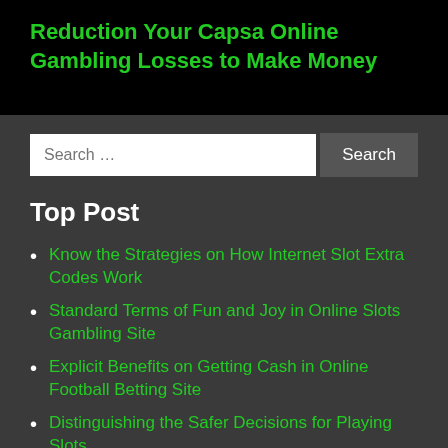Reduction Your Capsa Online Gambling Losses to Make Money
Top Post
Know the Strategies on How Internet Slot Extra Codes Work
Standard Terms of Fun and Joy in Online Slots Gambling Site
Explicit Benefits on Getting Cash in Online Football Betting Site
Distinguishing the Safer Decisions for Playing Slots